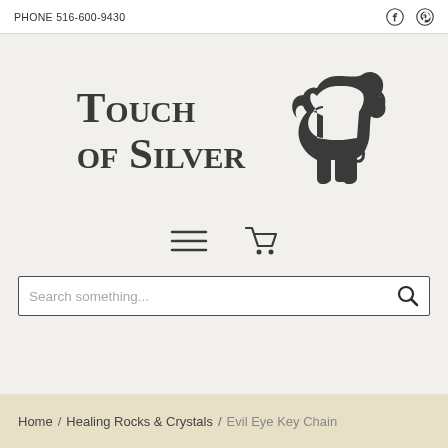PHONE 516-600-9430
[Figure (logo): Touch of Silver logo with large elephant silhouette and stylized text reading TOUCH OF SILVER]
[Figure (infographic): Hamburger menu icon and shopping cart icon navigation elements]
Search something...
Home / Healing Rocks & Crystals / Evil Eye Key Chain